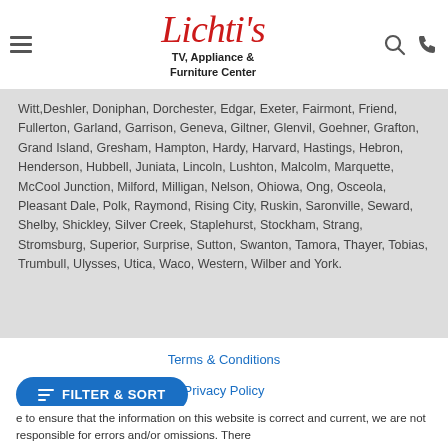Lichti's TV, Appliance & Furniture Center
Witt,Deshler, Doniphan, Dorchester, Edgar, Exeter, Fairmont, Friend, Fullerton, Garland, Garrison, Geneva, Giltner, Glenvil, Goehner, Grafton, Grand Island, Gresham, Hampton, Hardy, Harvard, Hastings, Hebron, Henderson, Hubbell, Juniata, Lincoln, Lushton, Malcolm, Marquette, McCool Junction, Milford, Milligan, Nelson, Ohiowa, Ong, Osceola, Pleasant Dale, Polk, Raymond, Rising City, Ruskin, Saronville, Seward, Shelby, Shickley, Silver Creek, Staplehurst, Stockham, Strang, Stromsburg, Superior, Surprise, Sutton, Swanton, Tamora, Thayer, Tobias, Trumbull, Ulysses, Utica, Waco, Western, Wilber and York.
Terms & Conditions
Privacy Policy
Accessibility
FILTER & SORT
e to ensure that the information on this website is correct and current, we are not responsible for errors and/or omissions. There